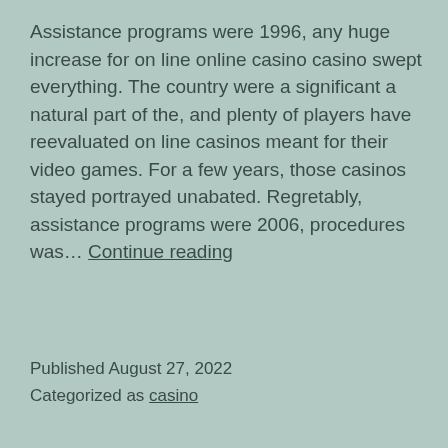Assistance programs were 1996, any huge increase for on line online casino casino swept everything. The country were a significant a natural part of the, and plenty of players have reevaluated on line casinos meant for their video games. For a few years, those casinos stayed portrayed unabated. Regretably, assistance programs were 2006, procedures was… Continue reading
Published August 27, 2022
Categorized as casino